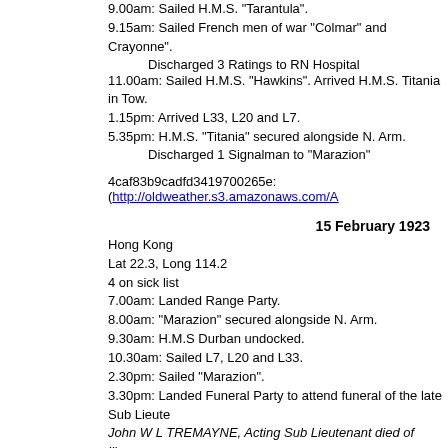9.00am: Sailed H.M.S. "Tarantula".
9.15am: Sailed French men of war "Colmar" and Crayonne".
    Discharged 3 Ratings to RN Hospital
11.00am: Sailed H.M.S. "Hawkins". Arrived H.M.S. Titania in Tow.
1.15pm: Arrived L33, L20 and L7.
5.35pm: H.M.S. "Titania" secured alongside N. Arm.
    Discharged 1 Signalman to "Marazion"
4caf83b9cadfd3419700265e: (http://oldweather.s3.amazonaws.com/A...)
15 February 1923
Hong Kong
Lat 22.3, Long 114.2
4 on sick list
7.00am: Landed Range Party.
8.00am: "Marazion" secured alongside N. Arm.
9.30am: H.M.S Durban undocked.
10.30am: Sailed L7, L20 and L33.
2.30pm: Sailed "Marazion".
3.30pm: Landed Funeral Party to attend funeral of the late Sub Lieute...
John W L TREMAYNE, Acting Sub Lieutenant died of illness.
5.00pm: Evening Quarters. Read Warrant No 30.
4caf83b9cadfd3419700265f: (http://oldweather.s3.amazonaws.com/Al...)
16 February 1923
Hong Kong
Lat 22.3, Long 114.2
Nil on sick list
6.00am: Hands employed cleaning ship and rigging Diving Boat.